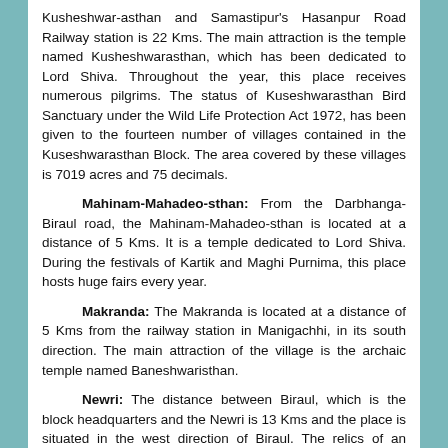Kusheshwar-asthan and Samastipur's Hasanpur Road Railway station is 22 Kms. The main attraction is the temple named Kusheshwarasthan, which has been dedicated to Lord Shiva. Throughout the year, this place receives numerous pilgrims. The status of Kuseshwarasthan Bird Sanctuary under the Wild Life Protection Act 1972, has been given to the fourteen number of villages contained in the Kuseshwarasthan Block. The area covered by these villages is 7019 acres and 75 decimals.
Mahinam-Mahadeo-sthan: From the Darbhanga-Biraul road, the Mahinam-Mahadeo-sthan is located at a distance of 5 Kms. It is a temple dedicated to Lord Shiva. During the festivals of Kartik and Maghi Purnima, this place hosts huge fairs every year.
Makranda: The Makranda is located at a distance of 5 Kms from the railway station in Manigachhi, in its south direction. The main attraction of the village is the archaic temple named Baneshwaristhan.
Newri: The distance between Biraul, which is the block headquarters and the Newri is 13 Kms and the place is situated in the west direction of Biraul. The relics of an archaic fort, which has connections to a person named Raja Lorick, can